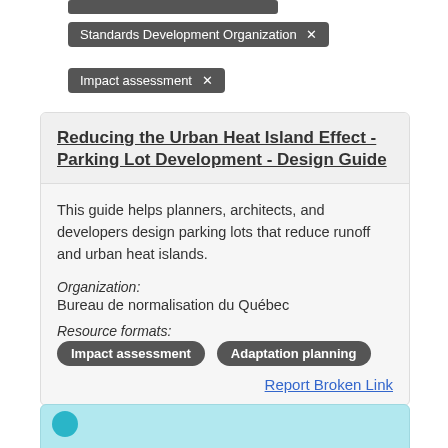Standards Development Organization ✕
Impact assessment ✕
Reducing the Urban Heat Island Effect - Parking Lot Development - Design Guide
This guide helps planners, architects, and developers design parking lots that reduce runoff and urban heat islands.
Organization:
Bureau de normalisation du Québec
Resource formats:
Impact assessment  Adaptation planning
Report Broken Link